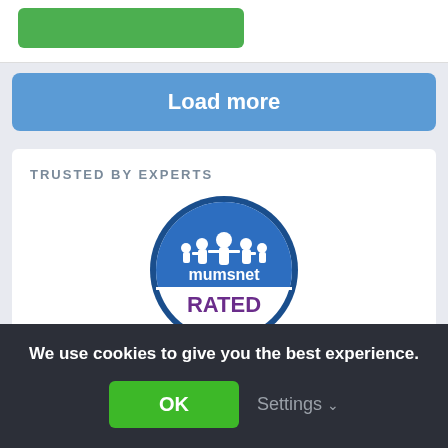[Figure (other): Green button partially visible at top of page]
Load more
TRUSTED BY EXPERTS
[Figure (logo): Mumsnet Rated badge — circular blue badge with white silhouette figures and text 'mumsnet RATED']
Don’t just take our word for it, homeowners love
We use cookies to give you the best experience.
OK
Settings